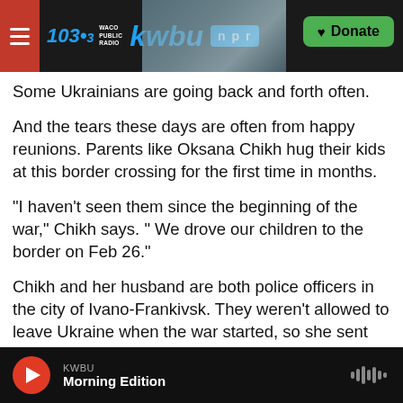103.3 KWBU WACO PUBLIC RADIO | NPR | Donate
Some Ukrainians are going back and forth often.
And the tears these days are often from happy reunions. Parents like Oksana Chikh hug their kids at this border crossing for the first time in months.
"I haven't seen them since the beginning of the war," Chikh says. " We drove our children to the border on Feb 26."
Chikh and her husband are both police officers in the city of Ivano-Frankivsk. They weren't allowed to leave Ukraine when the war started, so she sent her three boys to safety in Poland with their
KWBU Morning Edition